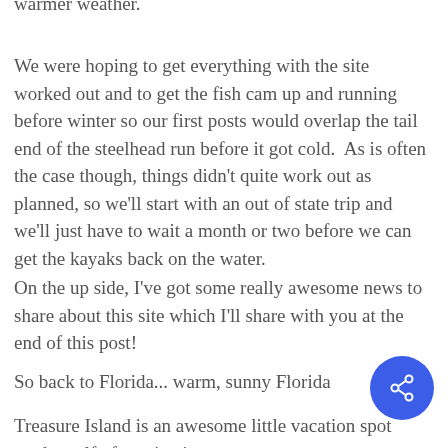warmer weather.
We were hoping to get everything with the site worked out and to get the fish cam up and running before winter so our first posts would overlap the tail end of the steelhead run before it got cold.  As is often the case though, things didn't quite work out as planned, so we'll start with an out of state trip and we'll just have to wait a month or two before we can get the kayaks back on the water.
On the up side, I've got some really awesome news to share about this site which I'll share with you at the end of this post!
So back to Florida... warm, sunny Florida
Treasure Island is an awesome little vacation spot on the gulf of mexico just to